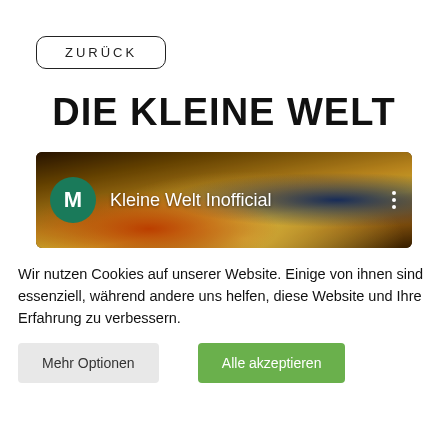ZURÜCK
DIE KLEINE WELT
[Figure (screenshot): Banner image showing 'Kleine Welt Inofficial' with a green M avatar circle on a space/planet background with golden and dark tones, and a three-dot menu icon on the right.]
Wir nutzen Cookies auf unserer Website. Einige von ihnen sind essenziell, während andere uns helfen, diese Website und Ihre Erfahrung zu verbessern.
Mehr Optionen
Alle akzeptieren